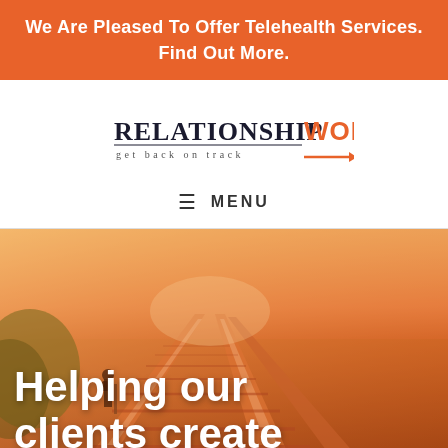We Are Pleased To Offer Telehealth Services. Find Out More.
[Figure (logo): Relationship Works logo with tagline 'get back on track' and orange arrow]
☰  MENU
[Figure (photo): Railroad tracks extending into horizon with orange warm-toned overlay; person standing near tracks on left side]
Helping our clients create